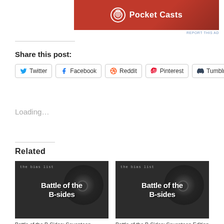[Figure (logo): Pocket Casts ad banner with logo on dark red background]
REPORT THIS AD
Share this post:
Twitter
Facebook
Reddit
Pinterest
Tumblr
Loading...
Related
[Figure (photo): Battle of the B-sides card image with vinyl record background, text 'the bias list' and 'Battle of the B-sides']
Battle of the B-Sides: Seventeen, CNBlue, (G)I-DLE, Tainy, STAYC
[Figure (photo): Battle of the B-sides card image with vinyl record background, text 'the bias list' and 'Battle of the B-sides']
Battle of the B-Sides: Seventeen Edition July 30, 2021